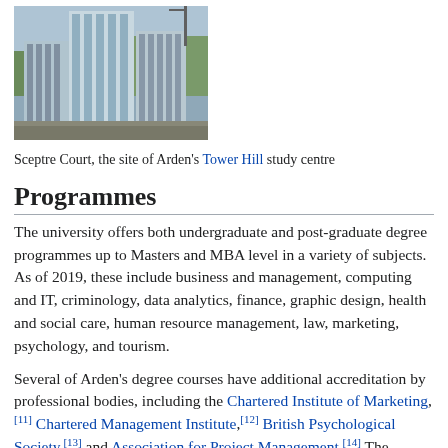[Figure (photo): Photograph of Sceptre Court building, a modern glass and concrete structure with trees visible in the background, site of Arden's Tower Hill study centre]
Sceptre Court, the site of Arden's Tower Hill study centre
Programmes
The university offers both undergraduate and post-graduate degree programmes up to Masters and MBA level in a variety of subjects. As of 2019, these include business and management, computing and IT, criminology, data analytics, finance, graphic design, health and social care, human resource management, law, marketing, psychology, and tourism.
Several of Arden's degree courses have additional accreditation by professional bodies, including the Chartered Institute of Marketing, [11] Chartered Management Institute, [12] British Psychological Society, [13] and Association for Project Management. [14] The university's LLB (Hons) is a Qualifying Law Degree. [15]
Arden University's courses can be studied both full-time and part